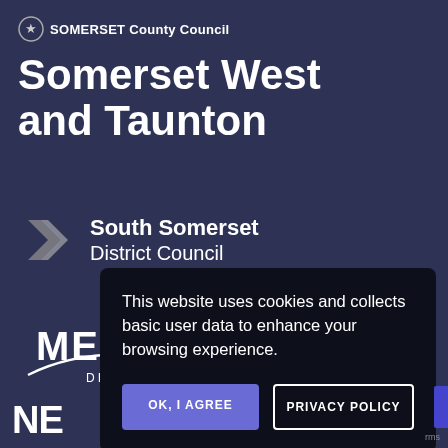[Figure (logo): Somerset County Council logo with shield icon and text]
Somerset West and Taunton
[Figure (logo): South Somerset District Council logo with chevron arrows icon]
[Figure (logo): Mendip District Council logo with swoosh underline]
This website uses cookies and collects basic user data to enhance your browsing experience.
OK, I AGREE
PRIVACY POLICY
NE